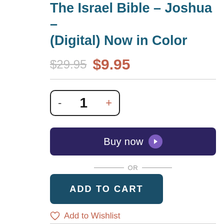The Israel Bible – Joshua – (Digital) Now in Color
$29.95  $9.95
- 1 +
Buy now
— OR —
ADD TO CART
Add to Wishlist